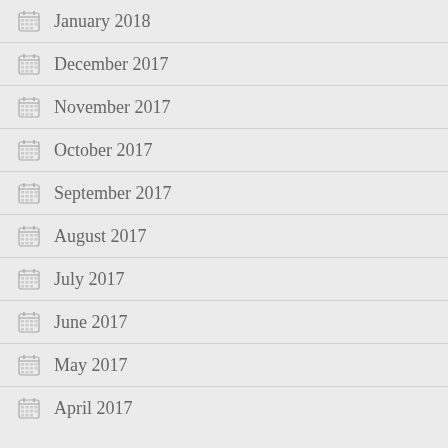January 2018
December 2017
November 2017
October 2017
September 2017
August 2017
July 2017
June 2017
May 2017
April 2017